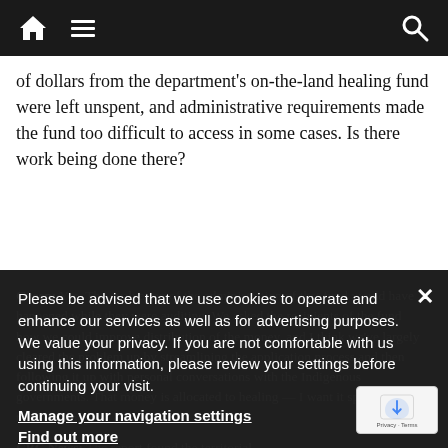Navigation bar with home, menu, and search icons
of dollars from the department's on-the-land healing fund were left unspent, and administrative requirements made the fund too difficult to access in some cases. Is there work being done there?
Green: Yes. The evaluation of the administration of that fund would have happened while they were auditing. We asked the recipients of the fund how we could improve distribution of the money, and I think we've largely cleared the problem up by streamlining the application process and then following it up with personal conversations with the Indigenous governments. That money is allocated to healing — I want it spent down to the last penny.
CBC News: The report found the territorial
Please be advised that we use cookies to operate and enhance our services as well as for advertising purposes. We value your privacy. If you are not comfortable with us using this information, please review your settings before continuing your visit.
Manage your navigation settings
Find out more